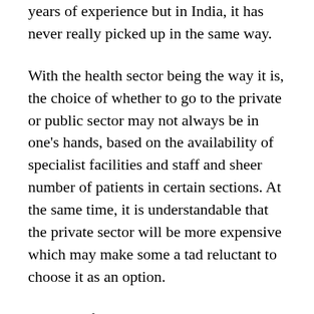years of experience but in India, it has never really picked up in the same way.
With the health sector being the way it is, the choice of whether to go to the private or public sector may not always be in one's hands, based on the availability of specialist facilities and staff and sheer number of patients in certain sections. At the same time, it is understandable that the private sector will be more expensive which may make some a tad reluctant to choose it as an option.
And that, for me, is exactly where a good health insurance comes into place, more so, one that offers multiple benefits. While talking to my friend, I gathered that her understanding of health insurance was that you pay a certain amount of money every year